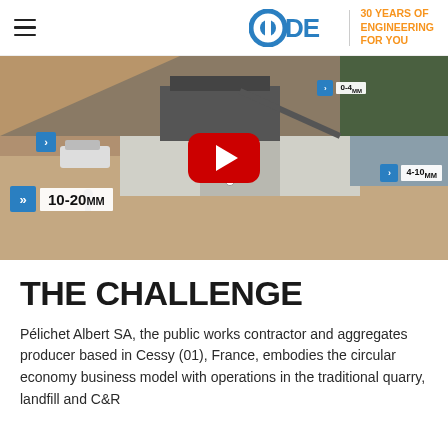CDE | 30 YEARS OF ENGINEERING FOR YOU
[Figure (screenshot): Aerial view of a quarry/aggregate processing facility with labeled product sizes: 10-20mm, 4-10mm, 0-4mm. YouTube play button overlay in the center.]
THE CHALLENGE
Pélichet Albert SA, the public works contractor and aggregates producer based in Cessy (01), France, embodies the circular economy business model with operations in the traditional quarry, landfill and C&R...